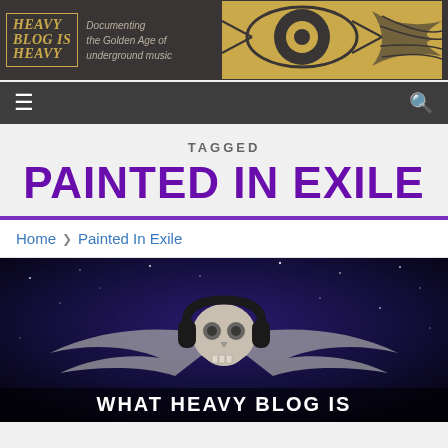[Figure (logo): Heavy Blog Is Heavy banner with golden gothic logo text and decorative art on dark background]
≡  🔍
TAGGED
PAINTED IN EXILE
Home > Painted In Exile
[Figure (illustration): Dark space background with skull wearing headphones and wings, text reads WHAT HEAVY BLOG IS]